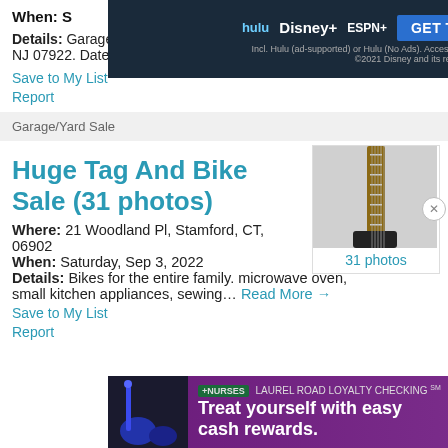When: Saturday, Sep 4, 2022
Details: Garage/Moving Sale at 2 Franklin Court, Berkeley Heights, NJ 07922. Date/Time:… Read More →
Save to My List
Report
Garage/Yard Sale
Huge Tag And Bike Sale (31 photos)
Where: 21 Woodland Pl, Stamford, CT, 06902
When: Saturday, Sep 3, 2022
Details: Bikes for the entire family. microwave oven, small kitchen appliances, sewing… Read More →
Save to My List
Report
[Figure (photo): Photo of guitar neck/fretboard against white wall, with 31 photos label below]